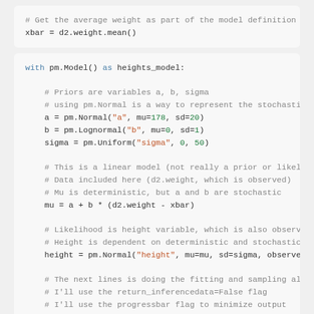# Get the average weight as part of the model definition
xbar = d2.weight.mean()
with pm.Model() as heights_model:
    # Priors are variables a, b, sigma
    # using pm.Normal is a way to represent the stochastic relati
    a = pm.Normal("a", mu=178, sd=20)
    b = pm.Lognormal("b", mu=0, sd=1)
    sigma = pm.Uniform("sigma", 0, 50)

    # This is a linear model (not really a prior or likelihood?)
    # Data included here (d2.weight, which is observed)
    # Mu is deterministic, but a and b are stochastic
    mu = a + b * (d2.weight - xbar)

    # Likelihood is height variable, which is also observed (data
    # Height is dependent on deterministic and stochastic variabl
    height = pm.Normal("height", mu=mu, sd=sigma, observed=d2.hei

    # The next lines is doing the fitting and sampling all at onc
    # I'll use the return_inferencedata=False flag
    # I'll use the progressbar flag to minimize output